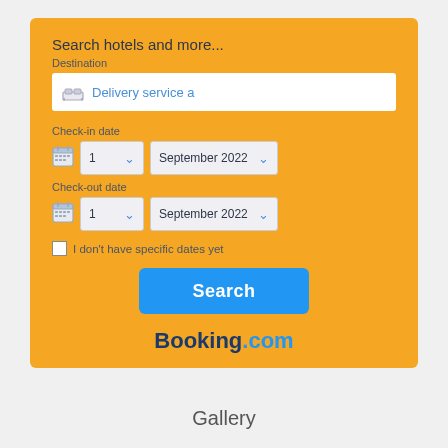[Figure (screenshot): Booking.com hotel search widget with orange background, showing destination input field with 'Delivery service a', check-in date dropdowns (1, September 2022), check-out date dropdowns (1, September 2022), a checkbox for 'I don't have specific dates yet', a blue Search button, and the Booking.com logo.]
Gallery